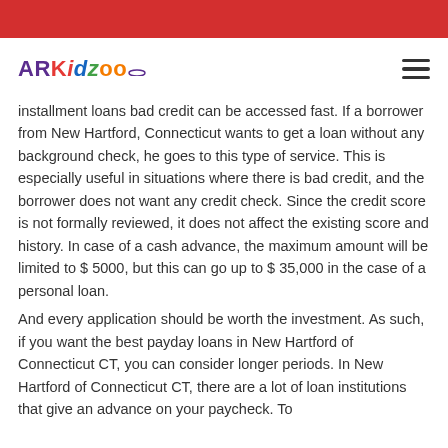[Figure (logo): ARKidzoo logo with colorful letters]
installment loans bad credit can be accessed fast. If a borrower from New Hartford, Connecticut wants to get a loan without any background check, he goes to this type of service. This is especially useful in situations where there is bad credit, and the borrower does not want any credit check. Since the credit score is not formally reviewed, it does not affect the existing score and history. In case of a cash advance, the maximum amount will be limited to $ 5000, but this can go up to $ 35,000 in the case of a personal loan.
And every application should be worth the investment. As such, if you want the best payday loans in New Hartford of Connecticut CT, you can consider longer periods. In New Hartford of Connecticut CT, there are a lot of loan institutions that give an advance on your paycheck. To